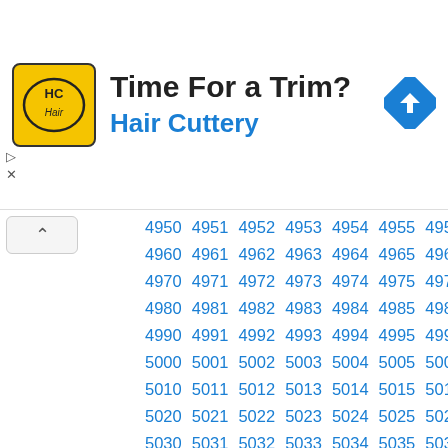[Figure (other): Hair Cuttery advertisement banner with logo, heading 'Time For a Trim?', subheading 'Hair Cuttery', and a navigation direction icon.]
| 4950 | 4951 | 4952 | 4953 | 4954 | 4955 | 4956 | 4957 | 4958 | 4959 |
| 4960 | 4961 | 4962 | 4963 | 4964 | 4965 | 4966 | 4967 | 4968 | 4969 |
| 4970 | 4971 | 4972 | 4973 | 4974 | 4975 | 4976 | 4977 | 4978 | 4979 |
| 4980 | 4981 | 4982 | 4983 | 4984 | 4985 | 4986 | 4987 | 4988 | 4989 |
| 4990 | 4991 | 4992 | 4993 | 4994 | 4995 | 4996 | 4997 | 4998 | 4999 |
| 5000 | 5001 | 5002 | 5003 | 5004 | 5005 | 5006 | 5007 | 5008 | 5009 |
| 5010 | 5011 | 5012 | 5013 | 5014 | 5015 | 5016 | 5017 | 5018 | 5019 |
| 5020 | 5021 | 5022 | 5023 | 5024 | 5025 | 5026 | 5027 | 5028 | 5029 |
| 5030 | 5031 | 5032 | 5033 | 5034 | 5035 | 5036 | 5037 | 5038 | 5039 |
| 5040 | 5041 | 5042 | 5043 | 5044 | 5045 | 5046 | 5047 | 5048 | 5049 |
| 5050 | 5051 | 5052 | 5053 | 5054 | 5055 | 5056 | 5057 | 5058 | 5059 |
| 5060 | 5061 | 5062 | 5063 | 5064 | 5065 | 5066 | 5067 | 5068 | 5069 |
| 5070 | 5071 | 5072 | 5073 | 5074 | 5075 | 5076 | 5077 | 5078 | 5079 |
| 5080 | 5081 | 5082 | 5083 | 5084 | 5085 | 5086 | 5087 | 5088 | 5089 |
| 5090 | 5091 | 5092 | 5093 | 5094 | 5095 | 5096 | 5097 | 5098 | 5099 |
| 5100 | 5101 | 5102 | 5103 | 5104 | 5105 | 5106 | 5107 | 5108 | 5109 |
| 5110 | 5111 | 5112 | 5113 | 5114 | 5115 | 5116 | 5117 | 5118 | 5119 |
| 5120 | 5121 | 5122 | 5123 | 5124 | 5125 | 5126 | 5127 | 5128 | 5129 |